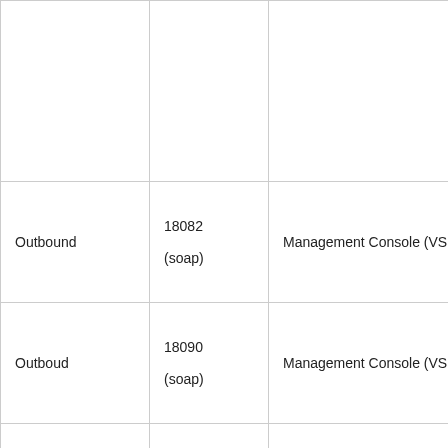| Direction | Port | Destination | Description |
| --- | --- | --- | --- |
|  |  |  |  |
| Outbound | 18082
(soap) | Management Console (VSS) | VI
up |
| Outboud | 18090
(soap) | Management Console (VSS) | VI
up |
| Outbound | 8123 | Management Console (VSS) | Re
fo
Ag
de
ar
m |